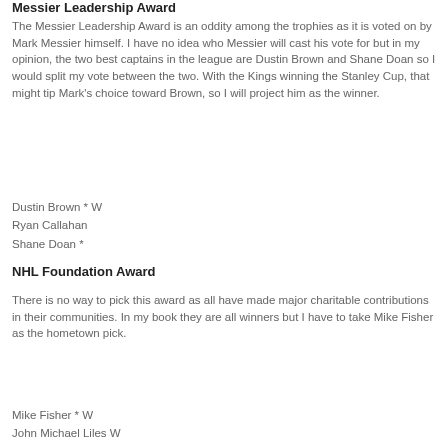Messier Leadership Award
The Messier Leadership Award is an oddity among the trophies as it is voted on by Mark Messier himself. I have no idea who Messier will cast his vote for but in my opinion, the two best captains in the league are Dustin Brown and Shane Doan so I would split my vote between the two. With the Kings winning the Stanley Cup, that might tip Mark's choice toward Brown, so I will project him as the winner.
Dustin Brown * W
Ryan Callahan
Shane Doan *
NHL Foundation Award
There is no way to pick this award as all have made major charitable contributions in their communities. In my book they are all winners but I have to take Mike Fisher as the hometown pick.
Mike Fisher * W
John Michael Liles W